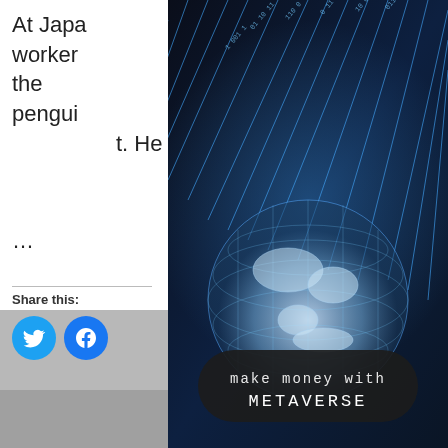At Japa… worker… the pengui… t. He …
Share this:
[Figure (illustration): Digital technology background with binary code streams and a glowing globe, overlaid with a dark pill-shaped badge reading 'make money with METAVERSE']
[Figure (photo): Partial photo visible at bottom left, grey background with a person or object partially visible]